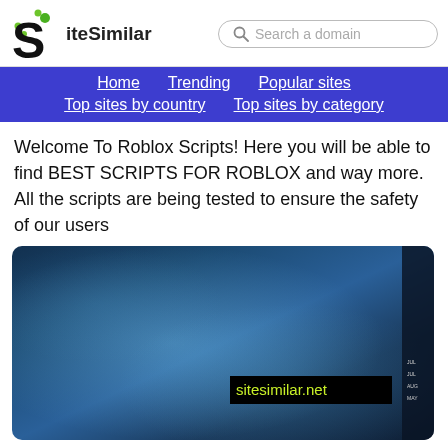SiteSimilar — Search a domain
Home  Trending  Popular sites  Top sites by country  Top sites by category
Welcome To Roblox Scripts! Here you will be able to find BEST SCRIPTS FOR ROBLOX and way more. All the scripts are being tested to ensure the safety of our users
[Figure (screenshot): Screenshot of a website with dark blue background showing sitesimilar.net watermark in yellow-green text]
nukeyscity.com similar sites